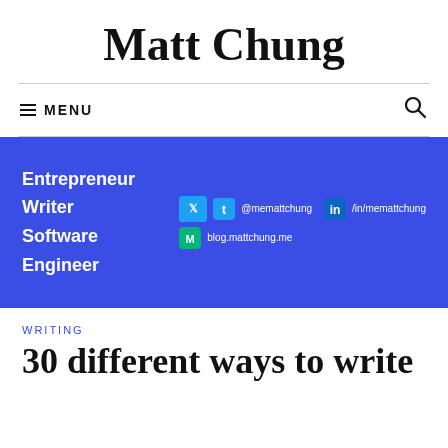Matt Chung
≡ MENU
[Figure (infographic): Blue banner with text: Entrepreneur, Writer, Software Engineer on the left; social media icons and handles on the right: Twitter @memattchung, LinkedIn /in/memattchung, Medium blog.mattchung.me]
WRITING
30 different ways to write